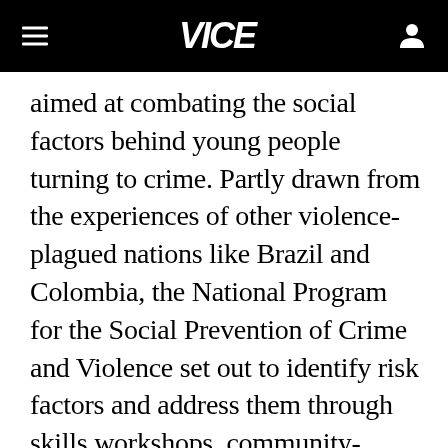VICE
aimed at combating the social factors behind young people turning to crime. Partly drawn from the experiences of other violence-plagued nations like Brazil and Colombia, the National Program for the Social Prevention of Crime and Violence set out to identify risk factors and address them through skills workshops, community-building activities and job creation.
ADVERTISEMENT